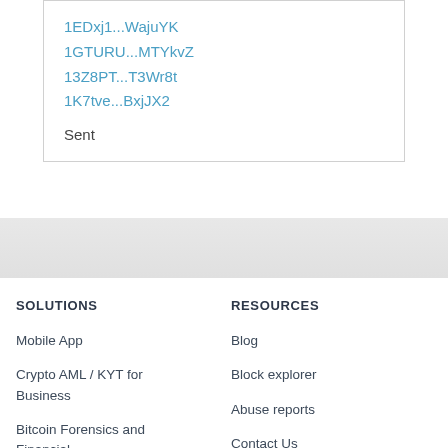1EDxj1...WajuYK
1GTURU...MTYkvZ
13Z8PT...T3Wr8t
1K7tve...BxjJX2
Sent
SOLUTIONS
RESOURCES
Mobile App
Blog
Crypto AML / KYT for Business
Block explorer
Bitcoin Forensics and Financial Investigations
Abuse reports
Contact Us